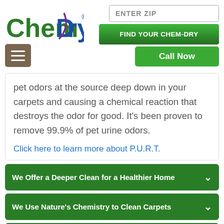[Figure (logo): Chem-Dry logo with green and blue text and purple swoosh]
ENTER ZIP
FIND YOUR CHEM-DRY
Call Now
[Figure (other): Hamburger menu icon (three horizontal lines) on brown/tan background]
pet odors at the source deep down in your carpets and causing a chemical reaction that destroys the odor for good. It's been proven to remove 99.9% of pet urine odors.
Click here to learn more about P.U.R.T.
We Offer a Deeper Clean for a Healthier Home
We Use Nature's Chemistry to Clean Carpets
Our Technicians are Stain Removal Specialists